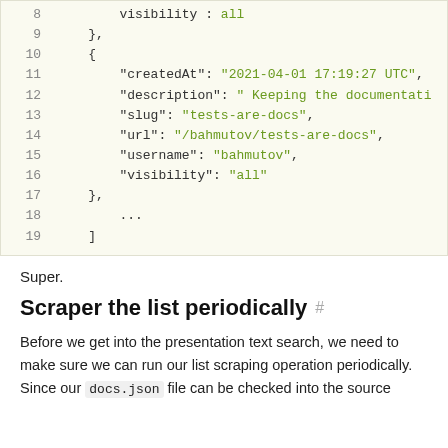8     visibility : all
9     },
10    {
11      "createdAt": "2021-04-01 17:19:27 UTC",
12      "description": " Keeping the documentati...
13      "slug": "tests-are-docs",
14      "url": "/bahmutov/tests-are-docs",
15      "username": "bahmutov",
16      "visibility": "all"
17    },
18      ...
19    ]
Super.
Scraper the list periodically
Before we get into the presentation text search, we need to make sure we can run our list scraping operation periodically. Since our docs.json file can be checked into the source...